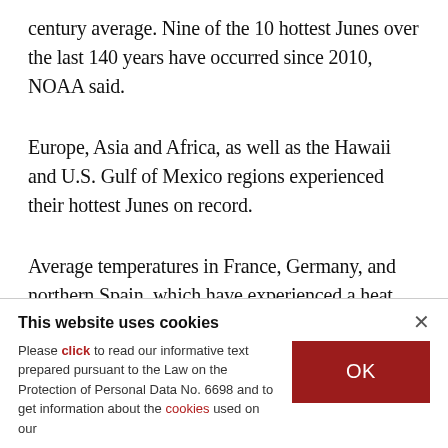century average. Nine of the 10 hottest Junes over the last 140 years have occurred since 2010, NOAA said.
Europe, Asia and Africa, as well as the Hawaii and U.S. Gulf of Mexico regions experienced their hottest Junes on record.
Average temperatures in France, Germany, and northern Spain, which have experienced a heat
This website uses cookies
Please click to read our informative text prepared pursuant to the Law on the Protection of Personal Data No. 6698 and to get information about the cookies used on our